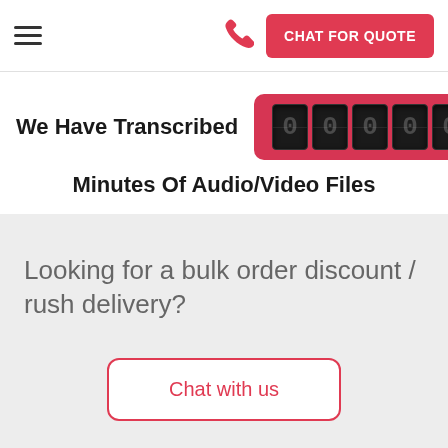≡  [phone icon]  CHAT FOR QUOTE
We Have Transcribed 0000000 Minutes Of Audio/Video Files
Looking for a bulk order discount / rush delivery?
Chat with us